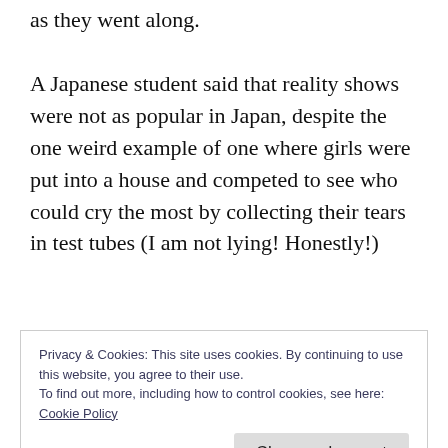as they went along.
A Japanese student said that reality shows were not as popular in Japan, despite the one weird example of one where girls were put into a house and competed to see who could cry the most by collecting their tears in test tubes (I am not lying! Honestly!)
So I prompted her to talk about TV shows that
Privacy & Cookies: This site uses cookies. By continuing to use this website, you agree to their use.
To find out more, including how to control cookies, see here:
Cookie Policy
targeting housewives and therefore featured